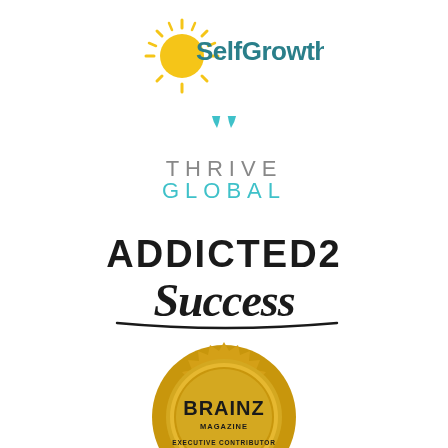[Figure (logo): SelfGrowth.com logo with yellow sun graphic and teal text]
[Figure (logo): Thrive Global logo with teal leaf icon and light gray uppercase text]
[Figure (logo): Addicted 2 Success logo with bold black text and cursive Success]
[Figure (logo): Brainz Magazine Executive Contributor gold seal badge]